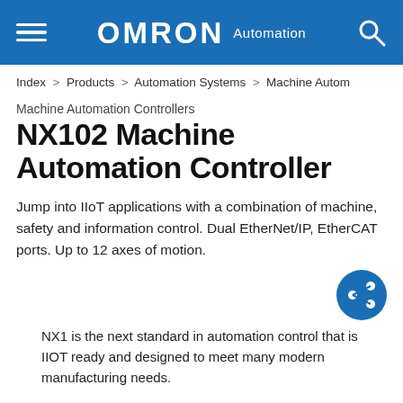OMRON Automation
Index > Products > Automation Systems > Machine Autom
Machine Automation Controllers
NX102 Machine Automation Controller
Jump into IIoT applications with a combination of machine, safety and information control. Dual EtherNet/IP, EtherCAT ports. Up to 12 axes of motion.
[Figure (illustration): Blue circular share button icon with share symbol]
NX1 is the next standard in automation control that is IIOT ready and designed to meet many modern manufacturing needs.